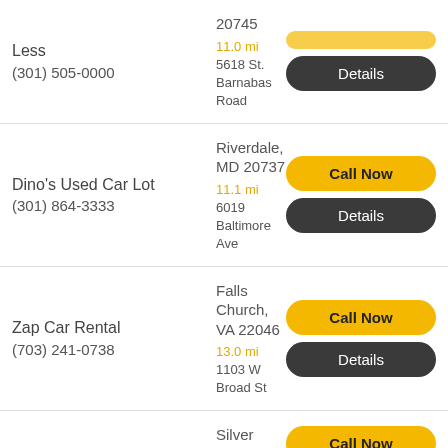Less (301) 505-0000 | 20745 | 11.0 mi 5618 St. Barnabas Road
Dino's Used Car Lot (301) 864-3333 | Riverdale, MD 20737 | 11.1 mi 6019 Baltimore Ave
Zap Car Rental (703) 241-0738 | Falls Church, VA 22046 | 13.0 mi 1103 W Broad St
Priceless Rent (240) 581-1365 | Silver Spring, MD 20901 | 14.1 mi